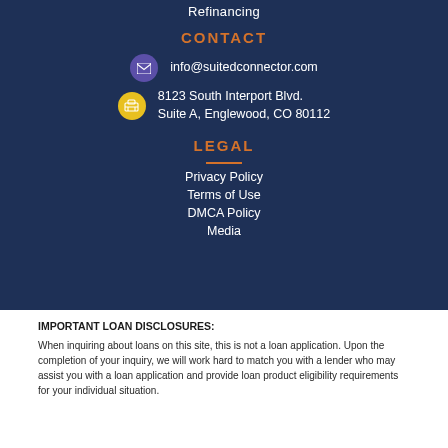Refinancing
CONTACT
info@suitedconnector.com
8123 South Interport Blvd. Suite A, Englewood, CO 80112
LEGAL
Privacy Policy
Terms of Use
DMCA Policy
Media
IMPORTANT LOAN DISCLOSURES:
When inquiring about loans on this site, this is not a loan application. Upon the completion of your inquiry, we will work hard to match you with a lender who may assist you with a loan application and provide loan product eligibility requirements for your individual situation.